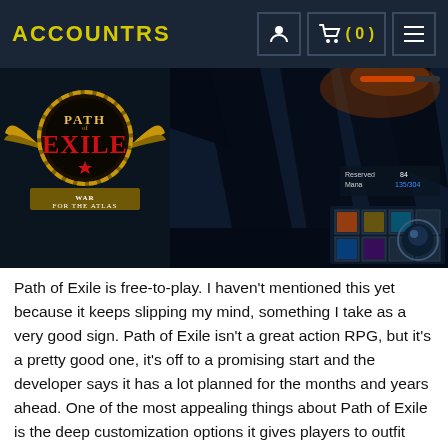ACCOUNTRS
[Figure (screenshot): Path of Exile: War for the Atlas game screenshot showing the Path of Exile logo with War for the Atlas branding on the left, and dark fantasy gameplay scene with HUD elements on the right.]
Path of Exile is free-to-play. I haven't mentioned this yet because it keeps slipping my mind, something I take as a very good sign. Path of Exile isn't a great action RPG, but it's a pretty good one, it's off to a promising start and the developer says it has a lot planned for the months and years ahead. One of the most appealing things about Path of Exile is the deep customization options it gives players to outfit their characters.
Grinding Gear Games is also adding in a substantial amount of fated uniques. Fated uniques are a type of unique item that allows you to upgrade them to the highest power levels. One of the unique items we we were able to see was a quiver called the Voidfletcher, which fired void